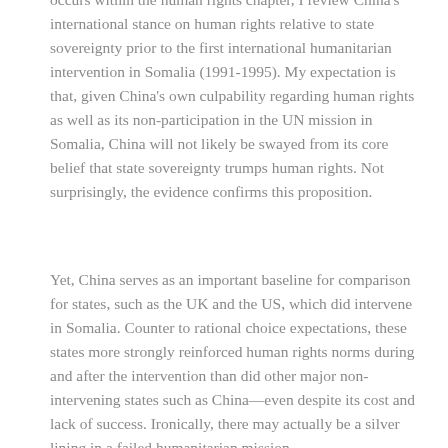occurs within the human rights chapter, I review China's international stance on human rights relative to state sovereignty prior to the first international humanitarian intervention in Somalia (1991-1995). My expectation is that, given China's own culpability regarding human rights as well as its non-participation in the UN mission in Somalia, China will not likely be swayed from its core belief that state sovereignty trumps human rights. Not surprisingly, the evidence confirms this proposition.
Yet, China serves as an important baseline for comparison for states, such as the UK and the US, which did intervene in Somalia. Counter to rational choice expectations, these states more strongly reinforced human rights norms during and after the intervention than did other major non-intervening states such as China—even despite its cost and lack of success. Ironically, there may actually be a silver lining in a failed humanitarian mission.